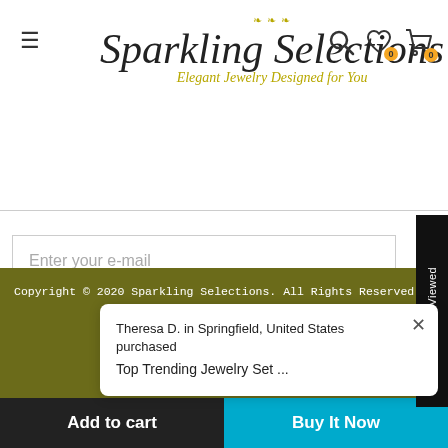[Figure (logo): Sparkling Selections logo with ornamental flourishes, italic script font, and tagline 'Elegant Jewelry Designed for You']
Enter your e-mail
Subscribe
Recently Viewed
Copyright © 2020 Sparkling Selections. All Rights Reserved.
Theresa D. in Springfield, United States purchased
Top Trending Jewelry Set ...
Add to cart
Buy It Now